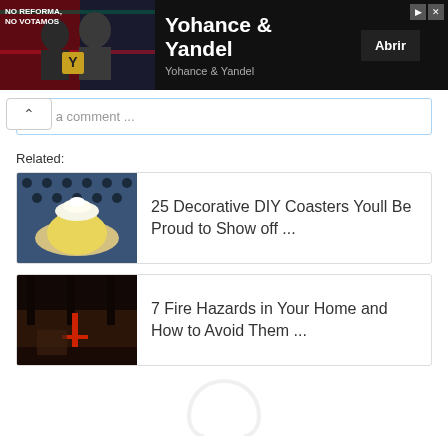[Figure (screenshot): Advertisement banner for Yohance & Yandel app with dark background image showing performers, title text, subtitle, and Abrir button]
Add a comment ...
Related:
[Figure (photo): Thumbnail image of decorative coasters with a coffee cup on polka dot fabric]
25 Decorative DIY Coasters Youll Be Proud to Show off ...
[Figure (photo): Thumbnail image related to fire hazards showing a dark interior scene]
7 Fire Hazards in Your Home and How to Avoid Them ...